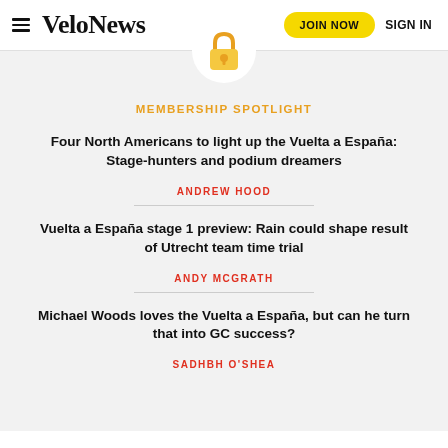VeloNews | JOIN NOW | SIGN IN
[Figure (illustration): Gold/yellow padlock icon centered at top of gray membership spotlight section]
MEMBERSHIP SPOTLIGHT
Four North Americans to light up the Vuelta a España: Stage-hunters and podium dreamers
ANDREW HOOD
Vuelta a España stage 1 preview: Rain could shape result of Utrecht team time trial
ANDY MCGRATH
Michael Woods loves the Vuelta a España, but can he turn that into GC success?
SADHBH O'SHEA